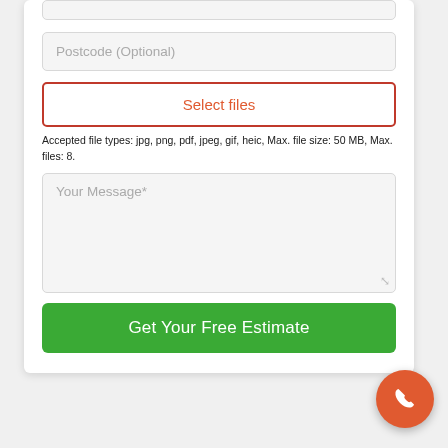[Figure (screenshot): A web form UI fragment showing a Postcode (Optional) text input, a Select files button with orange/red border, a file type note, a Your Message* textarea, and a Get Your Free Estimate green submit button, plus an orange phone call floating action button in the bottom right.]
Postcode (Optional)
Select files
Accepted file types: jpg, png, pdf, jpeg, gif, heic, Max. file size: 50 MB, Max. files: 8.
Your Message*
Get Your Free Estimate